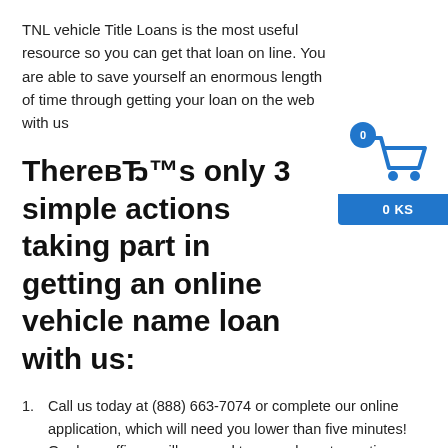TNL vehicle Title Loans is the most useful resource so you can get that loan on line. You are able to save yourself an enormous length of time through getting your loan on the web with us
ThereвЂ™s only 3 simple actions taking part in getting an online vehicle name loan with us:
[Figure (illustration): Shopping cart icon with blue circle badge showing '0' and blue label showing '0 KS']
Call us today at (888) 663-7074 or complete our online application, which will need you lower than five minutes! Our loan officers will respond to any relevant questions or issues you might have in regards to the loan procedure.
An individual will be qualified for the loan, weвЂ™ll provide you with an estimate of just how much it is possible to sign up for for the loan. Then deliver over your essential documents such as a duplicate of one's vehicle name, your driverвЂ™s permit or ID, proof earnings, and proof